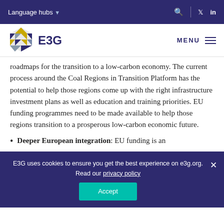Language hubs
[Figure (logo): E3G hexagonal logo with triangular geometric pattern in yellow, blue, grey, and dark navy colors, followed by 'E3G' text]
roadmaps for the transition to a low-carbon economy. The current process around the Coal Regions in Transition Platform has the potential to help those regions come up with the right infrastructure investment plans as well as education and training priorities. EU funding programmes need to be made available to help those regions transition to a prosperous low-carbon economic future.
Deeper European integration: EU funding is an
E3G uses cookies to ensure you get the best experience on e3g.org. Read our privacy policy
Accept